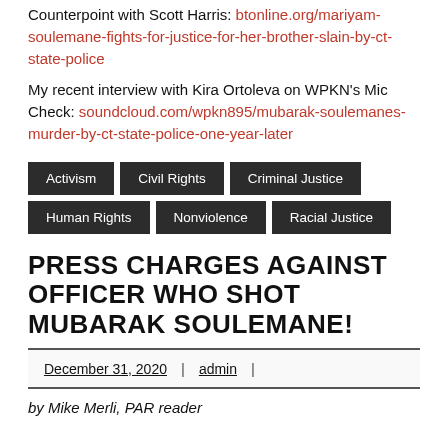Counterpoint with Scott Harris: btonline.org/mariyam-soulemane-fights-for-justice-for-her-brother-slain-by-ct-state-police
My recent interview with Kira Ortoleva on WPKN's Mic Check: soundcloud.com/wpkn895/mubarak-soulemanes-murder-by-ct-state-police-one-year-later
Activism
Civil Rights
Criminal Justice
Human Rights
Nonviolence
Racial Justice
PRESS CHARGES AGAINST OFFICER WHO SHOT MUBARAK SOULEMANE!
December 31, 2020 | admin |
by Mike Merli, PAR reader